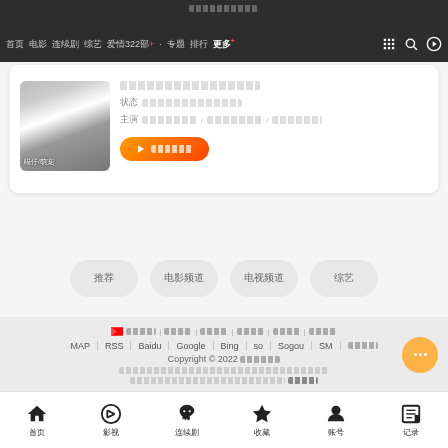Navigation bar with menu items and icons (Chinese UI screenshot)
[Figure (screenshot): Video content card with thumbnail image of a cat/dog, title in Chinese (redacted), metadata rows, and orange play button]
推荐 (Recommend pill)
电影频道 (Movie Channel pill)
电视频道 (TV Channel pill)
综艺 (Variety pill)
MAP | RSS | Baidu | Google | Bing | so | Sogou | SM | Chinese links. Copyright © 2022 Chinese text. Disclaimer text blocks.
Bottom navigation bar: 首页 影视 连续剧 收藏 账号 记录